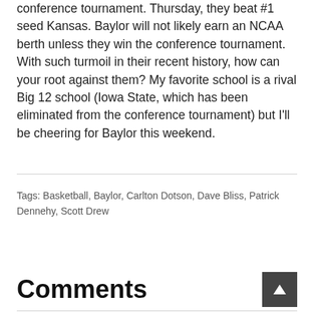conference tournament. Thursday, they beat #1 seed Kansas. Baylor will not likely earn an NCAA berth unless they win the conference tournament. With such turmoil in their recent history, how can your root against them? My favorite school is a rival Big 12 school (Iowa State, which has been eliminated from the conference tournament) but I'll be cheering for Baylor this weekend.
Tags: Basketball, Baylor, Carlton Dotson, Dave Bliss, Patrick Dennehy, Scott Drew
Comments